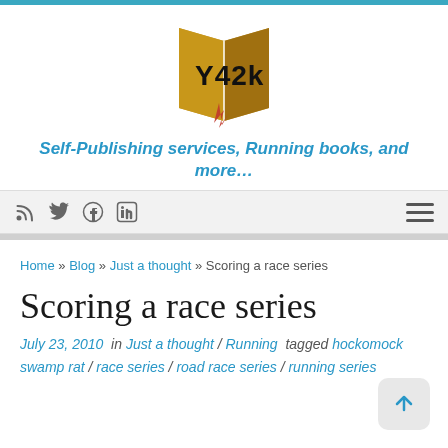[Figure (logo): Y42K logo — stylized open book with 'Y42K' text, golden/brown color with red bookmark]
Self-Publishing services, Running books, and more…
[Figure (screenshot): Navigation bar with social media icons (RSS, Twitter, Facebook, LinkedIn) on left and hamburger menu on right, on light grey background]
Home » Blog » Just a thought » Scoring a race series
Scoring a race series
July 23, 2010  in Just a thought / Running  tagged hockomock swamp rat / race series / road race series / running series